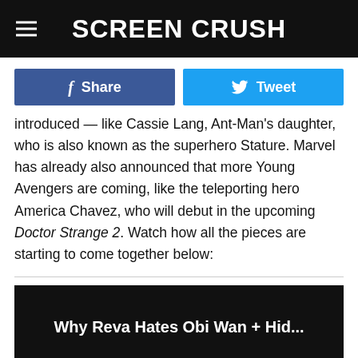Screen Crush
Share
Tweet
introduced — like Cassie Lang, Ant-Man's daughter, who is also known as the superhero Stature. Marvel has already also announced that more Young Avengers are coming, like the teleporting hero America Chavez, who will debut in the upcoming Doctor Strange 2. Watch how all the pieces are starting to come together below:
[Figure (screenshot): Embedded video player with black top section showing title 'Why Reva Hates Obi Wan + Hid...' and grey bottom section with a play button triangle.]